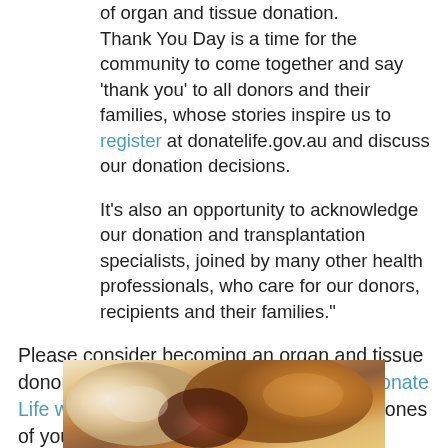of organ and tissue donation. Thank You Day is a time for the community to come together and say 'thank you' to all donors and their families, whose stories inspire us to register at donatelife.gov.au and discuss our donation decisions.
It's also an opportunity to acknowledge our donation and transplantation specialists, joined by many other health professionals, who care for our donors, recipients and their families."
Please consider becoming an organ and tissue donor, and register your decision on the Donate Life website. Don't forget to tell your loved ones of your wishes to be a donor.
[Figure (photo): A close-up photo of food items, appearing to be baked goods or pastries with a golden-brown color]